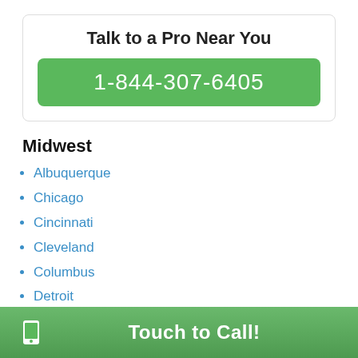Talk to a Pro Near You
1-844-307-6405
Midwest
Albuquerque
Chicago
Cincinnati
Cleveland
Columbus
Detroit
Indianapolis
Kansas City MO
Kansas City KS
Lexington
Lincoln
Touch to Call!